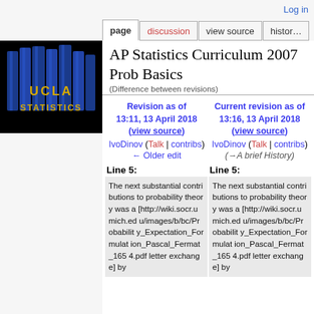Log in
page | discussion | view source | history
[Figure (logo): UCLA Statistics logo — blue books with gold text on black background]
AP Statistics Curriculum 2007 Prob Basics
(Difference between revisions)
| Revision as of 13:11, 13 April 2018 (view source) | Current revision as of 13:16, 13 April 2018 (view source) |
| --- | --- |
| IvoDinov (Talk | contribs) | IvoDinov (Talk | contribs) |
| ← Older edit | (→A brief History) |
Line 5:
Line 5:
The next substantial contributions to probability theory was a [http://wiki.socr.umich.edu/images/b/bc/Probability_Expectation_Formulation_Pascal_Fermat_1654.pdf letter exchange] by
The next substantial contributions to probability theory was a [http://wiki.socr.umich.edu/images/b/bc/Probability_Expectation_Formulation_Pascal_Fermat_1654.pdf letter exchange] by